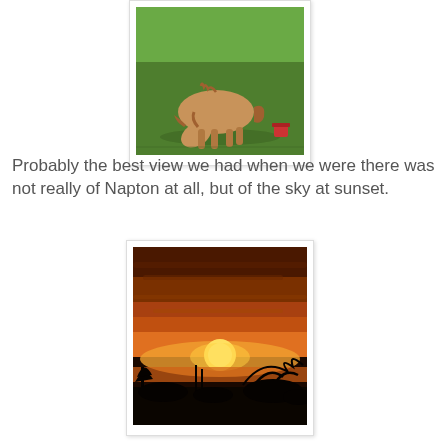[Figure (photo): A small Shetland pony grazing on a green field, bending its head to eat grass. A red bucket is visible in the background.]
Probably the best view we had when we were there was not really of Napton at all, but of the sky at sunset.
[Figure (photo): A dramatic sunset photo showing a bright golden-orange sun setting on the horizon, with silhouettes of bare trees and shrubs in the foreground, and layered orange and brown clouds filling the sky.]